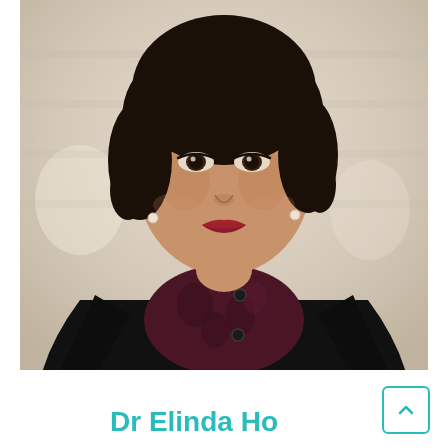[Figure (photo): Portrait photo of Dr Elinda Ho, a woman with dark curly hair, wearing a black cardigan over a dark floral top, with red lipstick, against a blurred light background.]
Dr Elinda Ho